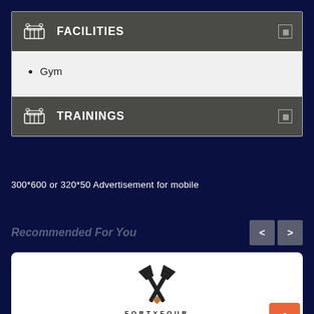FACILITIES
Gym
TRAININGS
300*600 or 320*50 Advertisement for mobile
Recommended For You
[Figure (logo): Forty Four West Bay logo — two crossed tools/axes with a diamond center, text FORTYFOUR WESTBAY below in black and orange]